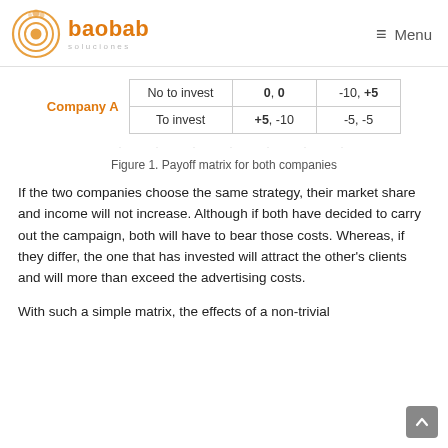baobab soluciones — Menu
|  | 0, 0 | -10, +5 |
| --- | --- | --- |
| No to invest | 0, 0 | -10, +5 |
| To invest | +5, -10 | -5, -5 |
Figure 1. Payoff matrix for both companies
If the two companies choose the same strategy, their market share and income will not increase. Although if both have decided to carry out the campaign, both will have to bear those costs. Whereas, if they differ, the one that has invested will attract the other's clients and will more than exceed the advertising costs.
With such a simple matrix, the effects of a non-trivial